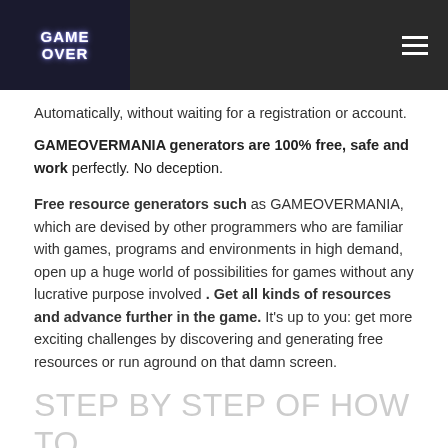[Figure (logo): Game Over Mania logo in dark navy box with white pixelated text]
Automatically, without waiting for a registration or account.
GAMEOVERMANIA generators are 100% free, safe and work perfectly. No deception.
Free resource generators such as GAMEOVERMANIA, which are devised by other programmers who are familiar with games, programs and environments in high demand, open up a huge world of possibilities for games without any lucrative purpose involved . Get all kinds of resources and advance further in the game. It's up to you: get more exciting challenges by discovering and generating free resources or run aground on that damn screen.
STEP BY STEP OF HOW TO USE THE